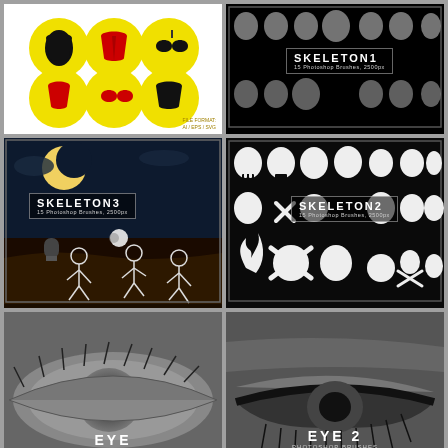[Figure (illustration): Six circular yellow icons with black lingerie/corset silhouettes and red accents arranged in a 3x2 grid on white background]
[Figure (illustration): SKELETON1 - 15 Photoshop Brushes, 2500px. Sugar skull / Day of the Dead decorative skull brushes on black background]
[Figure (illustration): SKELETON3 - 15 Photoshop Brushes, 2500px. Stick figure skeleton characters dancing in a spooky night scene with moon]
[Figure (illustration): SKELETON2 - 15 Photoshop Brushes, 2500px. White skull and crossbones icon brushes on black background]
[Figure (photo): Close-up black and white photograph of a human eye with text overlay: EYE PHOTOSHOP BRUSHES]
[Figure (photo): Close-up black and white photograph of a human eye with dramatic lashes and text overlay: EYE 2 PHOTOSHOP BRUSHES]
[Figure (photo): Partial light-colored abstract or texture background, partially visible]
[Figure (illustration): Row of 8 small gray skull icons on light gray background]